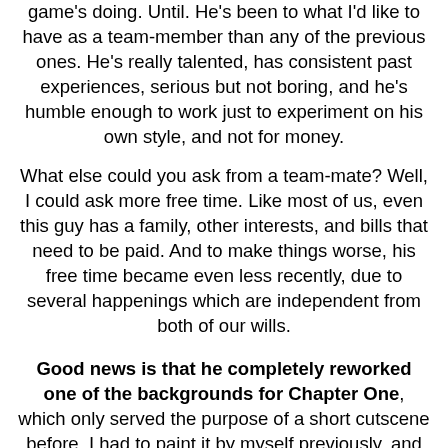game's doing. Until. He's been to what I'd like to have as a team-member than any of the previous ones. He's really talented, has consistent past experiences, serious but not boring, and he's humble enough to work just to experiment on his own style, and not for money.
What else could you ask from a team-mate? Well, I could ask more free time. Like most of us, even this guy has a family, other interests, and bills that need to be paid. And to make things worse, his free time became even less recently, due to several happenings which are independent from both of our wills.
Good news is that he completely reworked one of the backgrounds for Chapter One, which only served the purpose of a short cutscene before. I had to paint it by myself previously, and the result was only decent. Now it's gorgeous, and the new design called for some extra features. Now there are really interesting elements of gameplay and some cool features which make that room different from the rest of the game and yet coherent with it.
Of course, all of this required time: not just for the extra design, coding and sfx creation, but also because when you start working with someone on such an important part of the game, you need to instruct him about the game's back story, the atmosphere, and the technicalities.